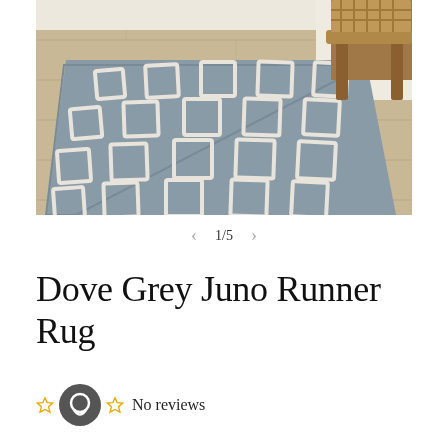[Figure (photo): A grey runner rug with white geometric diamond/lattice pattern laid on light wood floor. A wooden chair/stool is visible in the upper right corner.]
1/5
Dove Grey Juno Runner Rug
No reviews